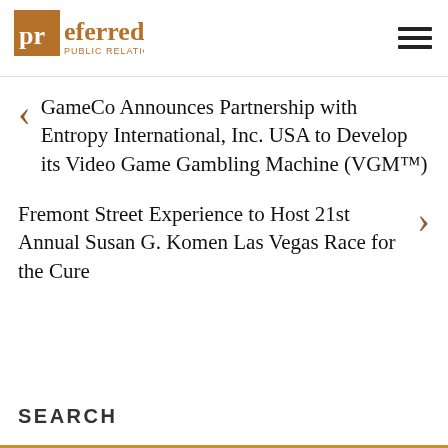Preferred Public Relations
GameCo Announces Partnership with Entropy International, Inc. USA to Develop its Video Game Gambling Machine (VGM™)
Fremont Street Experience to Host 21st Annual Susan G. Komen Las Vegas Race for the Cure
SEARCH